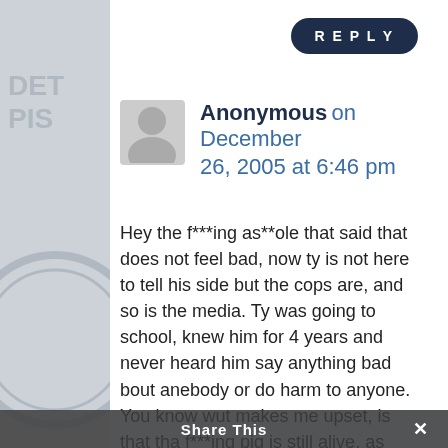[Figure (other): Gray background with Detroit Pistons basketball logo watermark fragments visible on left and right edges]
REPLY
Anonymous on December 26, 2005 at 6:46 pm
Hey the f***ing as**ole that said that does not feel bad, now ty is not here to tell his side but the cops are, and so is the media. Ty was going to school, knew him for 4 years and never heard him say anything bad bout anebody or do harm to anyone. You know wut makes me upset, is that tha f***ing pig is still alive, as well as the dude
Share This ×